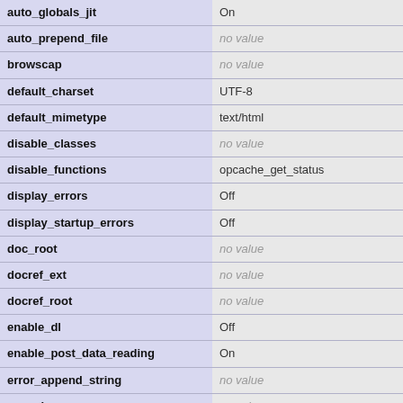| Directive | Value |
| --- | --- |
| auto_globals_jit | On |
| auto_prepend_file | no value |
| browscap | no value |
| default_charset | UTF-8 |
| default_mimetype | text/html |
| disable_classes | no value |
| disable_functions | opcache_get_status |
| display_errors | Off |
| display_startup_errors | Off |
| doc_root | no value |
| docref_ext | no value |
| docref_root | no value |
| enable_dl | Off |
| enable_post_data_reading | On |
| error_append_string | no value |
| error_log | no value |
| error_prepend_string | no value |
| error_reporting | 22519 |
| expose_php | On |
| extension_dir | /opt/plesk/php/7.2/lib/ph |